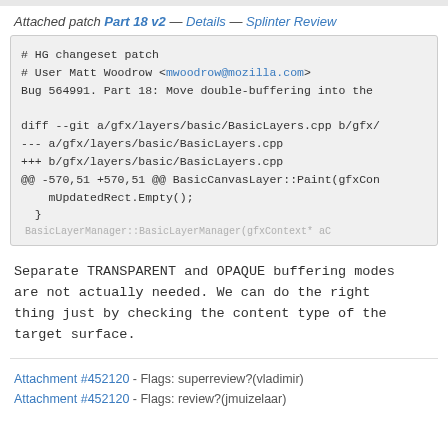Attached patch Part 18 v2 — Details — Splinter Review
[Figure (screenshot): Code block showing HG changeset patch header and diff output for BasicLayers.cpp]
Separate TRANSPARENT and OPAQUE buffering modes are not actually needed. We can do the right thing just by checking the content type of the target surface.
Attachment #452120 - Flags: superreview?(vladimir)
Attachment #452120 - Flags: review?(jmuizelaar)